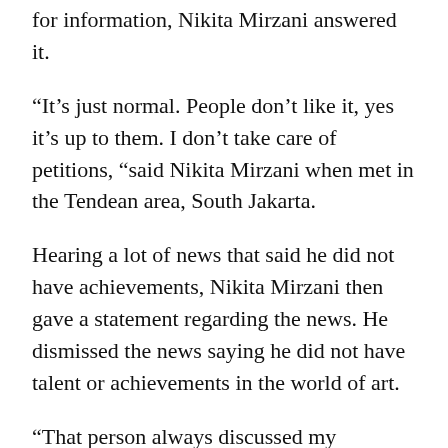for information, Nikita Mirzani answered it.
“It’s just normal. People don’t like it, yes it’s up to them. I don’t take care of petitions, “said Nikita Mirzani when met in the Tendean area, South Jakarta.
Hearing a lot of news that said he did not have achievements, Nikita Mirzani then gave a statement regarding the news. He dismissed the news saying he did not have talent or achievements in the world of art.
“That person always discussed my sensations. I have a lot of shows. Many of my films are box office. Anyone discussing? It’s not like that!